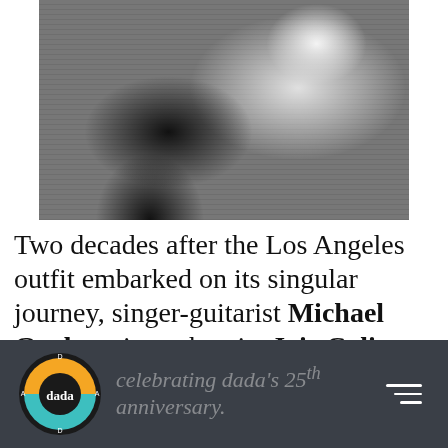[Figure (photo): Black and white photo of two people, one wearing a striped shirt, cropped to show torsos]
Two decades after the Los Angeles outfit embarked on its singular journey, singer-guitarist Michael Gurley, singer-bassist Joie Calio and drummer Phil Leavitt are celebrating dada's 25th anniversary.
dada [logo] | hamburger menu